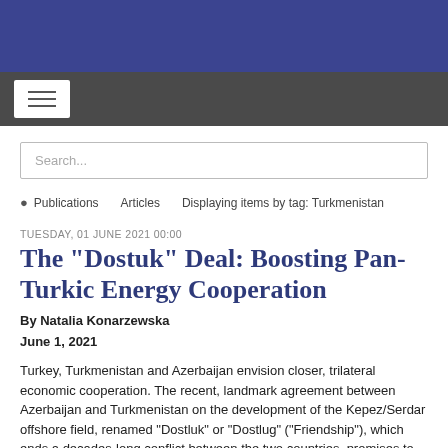[Figure (other): Navigation bar with hamburger menu button on dark background]
Search...
Publications  Articles  Displaying items by tag: Turkmenistan
TUESDAY, 01 JUNE 2021 00:00
The "Dostuk" Deal: Boosting Pan-Turkic Energy Cooperation
By Natalia Konarzewska
June 1, 2021
Turkey, Turkmenistan and Azerbaijan envision closer, trilateral economic cooperation. The recent, landmark agreement between Azerbaijan and Turkmenistan on the development of the Kepez/Serdar offshore field, renamed "Dostluk" or "Dostlug" ("Friendship"), which ends a decades-long conflict between the two countries, promises to boost pan-Turkic energy cooperation. Also, Turkey's new connectivity with Azerbaijan and the